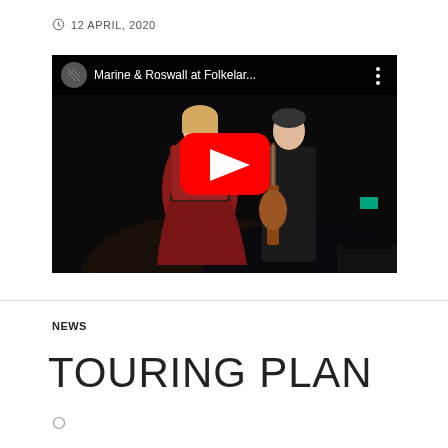12 APRIL, 2020
[Figure (screenshot): YouTube video thumbnail showing two musicians on stage: a woman in a red dress playing violin and a man in a black shirt playing guitar. The video title reads 'Marine & Roswall at Folkelar...' with a YouTube play button overlay.]
NEWS
TOURING PLAN